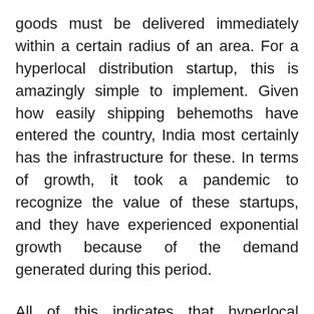goods must be delivered immediately within a certain radius of an area. For a hyperlocal distribution startup, this is amazingly simple to implement. Given how easily shipping behemoths have entered the country, India most certainly has the infrastructure for these. In terms of growth, it took a pandemic to recognize the value of these startups, and they have experienced exponential growth because of the demand generated during this period.
All of this indicates that hyperlocal companies are here to stay. Because of the hygiene and protection, citizens tended to focus on the well-known local businesses during the difficult times